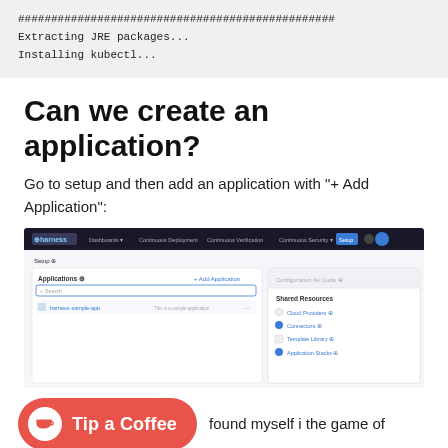################################################
Extracting JRE packages...
Installing kubectl...
Can we create an application?
Go to setup and then add an application with "+ Add Application":
[Figure (screenshot): Screenshot of Harness application dashboard showing Applications panel with 'harness-sample-app' listed, and a Shared Resources panel on the right with Cloud Providers, Connectors, Template Library, and Application Stacks options.]
Tip a Coffee   found myself i the game of pre-requisites: